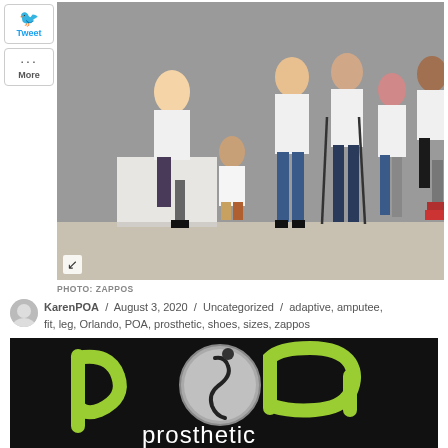[Figure (photo): Group of people with prosthetic limbs posing together in white shirts, grey studio background]
PHOTO: ZAPPOS
KarenPOA / August 3, 2020 / Uncategorized / adaptive, amputee, fit, leg, Orlando, POA, prosthetic, shoes, sizes, zappos
[Figure (logo): Prosthetic & Orthotic Associates (POA) logo — lime green 'poa' letters with a silver circular figure icon, on black background, with 'prosthetic' text below in white]